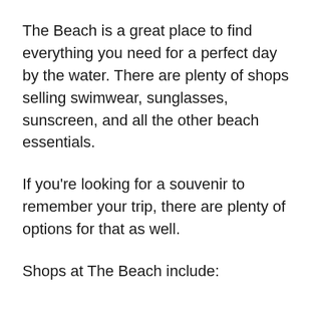The Beach is a great place to find everything you need for a perfect day by the water. There are plenty of shops selling swimwear, sunglasses, sunscreen, and all the other beach essentials.
If you're looking for a souvenir to remember your trip, there are plenty of options for that as well.
Shops at The Beach include: